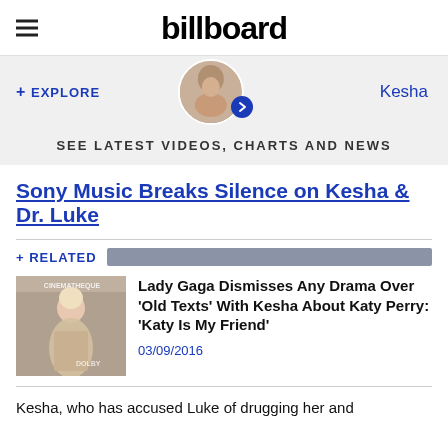billboard
[Figure (infographic): + EXPLORE section with circular avatar thumbnail and Kesha label, with blue arrow button, on gray background]
SEE LATEST VIDEOS, CHARTS AND NEWS
Sony Music Breaks Silence on Kesha & Dr. Luke
+ RELATED
[Figure (photo): Photo of Lady Gaga at an event, wearing a sparkly dress with hair up]
Lady Gaga Dismisses Any Drama Over 'Old Texts' With Kesha About Katy Perry: 'Katy Is My Friend'
03/09/2016
Kesha, who has accused Luke of drugging her and